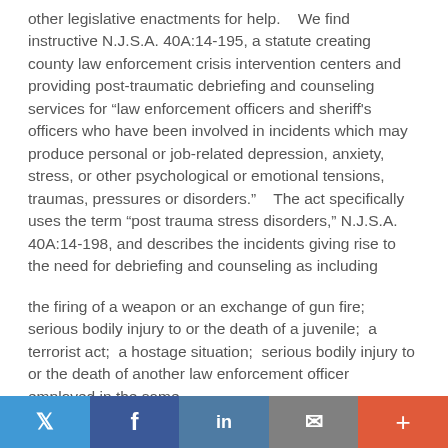other legislative enactments for help.    We find instructive N.J.S.A. 40A:14-195, a statute creating county law enforcement crisis intervention centers and providing post-traumatic debriefing and counseling services for “law enforcement officers and sheriff's officers who have been involved in incidents which may produce personal or job-related depression, anxiety, stress, or other psychological or emotional tensions, traumas, pressures or disorders.”    The act specifically uses the term “post trauma stress disorders,” N.J.S.A. 40A:14-198, and describes the incidents giving rise to the need for debriefing and counseling as including
the firing of a weapon or an exchange of gun fire;  serious bodily injury to or the death of a juvenile;  a terrorist act;  a hostage situation;  serious bodily injury to or the death of another law enforcement officer employed in the same
Twitter | Facebook | LinkedIn | Email | +